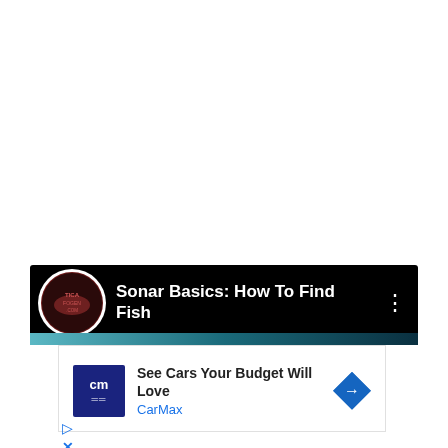[Figure (screenshot): YouTube video card with black background showing channel logo (circular, dark red/brown fish-related logo), video title 'Sonar Basics: How To Find Fish' in white bold text, three-dot menu icon on the right, and a teal/blue gradient progress bar at the bottom.]
[Figure (screenshot): CarMax advertisement banner with dark blue 'cm' logo, headline 'See Cars Your Budget Will Love', brand name 'CarMax' in blue, and a blue diamond-shaped arrow icon on the right. Below the ad are small play and close (X) icons in blue.]